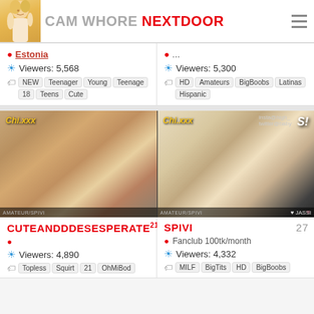CAM WHORE NEXTDOOR
Estonia | Viewers: 5,568 | Tags: NEW, Teenager, Young, Teenage, 18, Teens, Cute
.... | Viewers: 5,300 | Tags: HD, Amateurs, BigBoobs, Latinas, Hispanic
[Figure (photo): Webcam screenshot with Chi.xxx logo overlay showing oiled body]
[Figure (photo): Webcam screenshot with Chi.xxx logo of tattooed woman holding phone]
CUTEANDDESPERATE (age 21) | Viewers: 4,890 | Tags: Topless, Squirt, 21, OhMiBod
SPIVI (age 27) | Fanclub 100tk/month | Viewers: 4,332 | Tags: MILF, BigTits, HD, BigBoobs